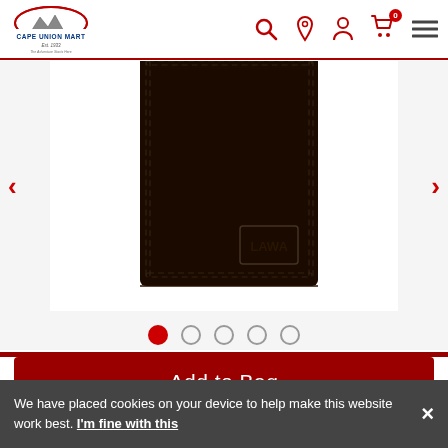[Figure (screenshot): Cape Union Mart website header with logo, search, location, account, cart (0 items), and hamburger menu icons]
[Figure (photo): Black leather bifold wallet product photo on white background, with LAWA branding logo embossed at bottom right corner]
[Figure (infographic): Carousel navigation dots: 5 dots, first one filled red (active), rest empty circles]
Add to Bag
[Figure (logo): PayPal button showing PayPal logo in blue on yellow background]
[Figure (logo): PayPal Pay Later button showing P logo and Pay Later text on yellow background]
We have placed cookies on your device to help make this website work best. I'm fine with this